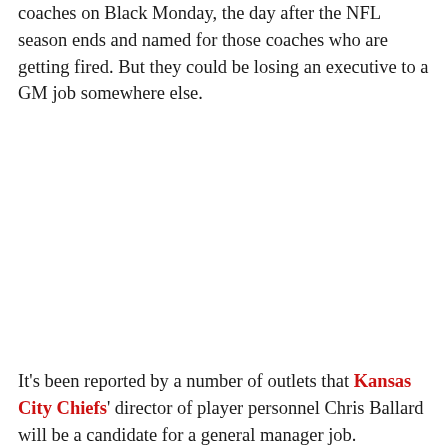coaches on Black Monday, the day after the NFL season ends and named for those coaches who are getting fired. But they could be losing an executive to a GM job somewhere else.
It's been reported by a number of outlets that Kansas City Chiefs' director of player personnel Chris Ballard will be a candidate for a general manager job.